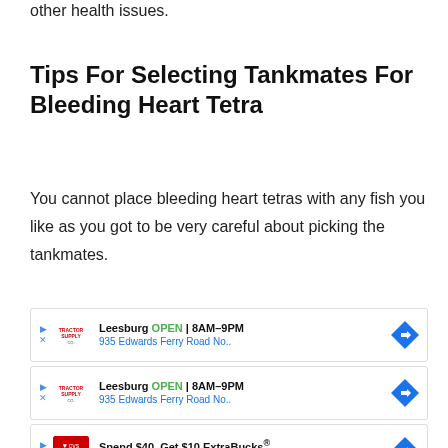other health issues.
Tips For Selecting Tankmates For Bleeding Heart Tetra
You cannot place bleeding heart tetras with any fish you like as you got to be very careful about picking the tankmates.
[Figure (other): Advertisement card: Tractor Supply Co. - Leesburg OPEN 8AM-9PM, 935 Edwards Ferry Road No..]
[Figure (other): Advertisement card: Tractor Supply Co. - Leesburg OPEN 8AM-9PM, 935 Edwards Ferry Road No..]
[Figure (other): Advertisement card: CVS Pharmacy - Spend $40, Get $10 ExtraBucks®, CVS Pharmacy]